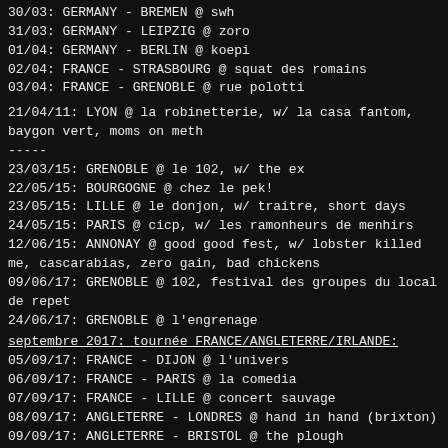30/03: GERMANY - BREMEN @ swh
31/03: GERMANY - LEIPZIG @ zoro
01/04: GERMANY - BERLIN @ koepi
02/04: FRANCE - STRASBOURG @ squat des romains
03/04: FRANCE - GRENOBLE @ rue polotti
21/04/11: LYON @ la robinetterie, w/ la casa fantom, baygon vert, moms on meth
-----
23/03/15: GRENOBLE @ le 102, w/ the ex
22/05/15: BOURGOGNE @ chez le pek!
23/05/15: LILLE @ le donjon, w/ traitre, short days
24/05/15: PARIS @ cicp, w/ les ramonheurs de menhirs
12/06/15: ANNONAY @ good good fest, w/ lobster killed me, cascarabias, zero gain, bad chickens
09/06/17: GRENOBLE @ 102, festival des groupes du local de repet
24/06/17: GRENOBLE @ l'engrenage
septembre 2017: tournée FRANCE/ANGLETERRE/IRLANDE:
05/09/17: FRANCE - DIJON @ l'univers
06/09/17: FRANCE - PARIS @ la comedia
07/09/17: FRANCE - LILLE @ concert sauvage
08/09/17: ANGLETERRE - LONDRES @ hand in hand (brixton)
09/09/17: ANGLETERRE - BRISTOL @ the plough
11/09/17: ANGLETERRE -  MANCHESTER @ tba
15/09/17: IRLANDE - WATERFORD @ goma
16/09/17: IRLANDE - DUBLIN @ dalymount
19/09/17: FRANCE - RENNES @ ty anna
20/09/17: FRANCE - BREST @ mpt valy hir